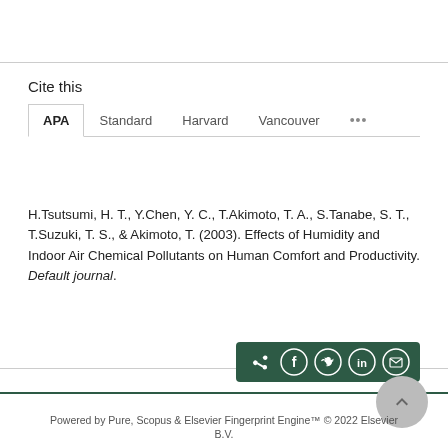Cite this
H.Tsutsumi, H. T., Y.Chen, Y. C., T.Akimoto, T. A., S.Tanabe, S. T., T.Suzuki, T. S., & Akimoto, T. (2003). Effects of Humidity and Indoor Air Chemical Pollutants on Human Comfort and Productivity. Default journal.
[Figure (other): Share buttons bar with dark green background showing share, Facebook, Twitter, LinkedIn, and email icons]
Powered by Pure, Scopus & Elsevier Fingerprint Engine™ © 2022 Elsevier B.V.